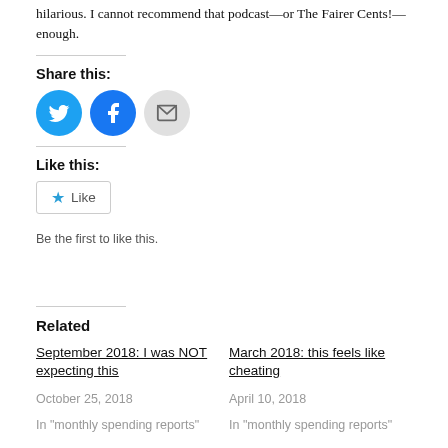hilarious. I cannot recommend that podcast—or The Fairer Cents!—enough.
Share this:
[Figure (other): Social share buttons: Twitter (blue circle), Facebook (blue circle), Email (grey circle)]
Like this:
★ Like
Be the first to like this.
Related
September 2018: I was NOT expecting this
October 25, 2018
In "monthly spending reports"
March 2018: this feels like cheating
April 10, 2018
In "monthly spending reports"